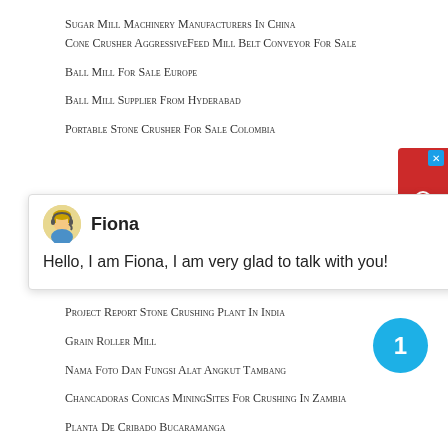Sugar Mill Machinery Manufacturers In China
Cone Crusher AggressiveFeed Mill Belt Conveyor For Sale
Ball Mill For Sale Europe
Ball Mill Supplier From Hyderabad
Portable Stone Crusher For Sale Colombia
[Figure (screenshot): Chat popup with avatar of Fiona, close button, name Fiona, and message: Hello, I am Fiona, I am very glad to talk with you!]
Project Report Stone Crushing Plant In India
Grain Roller Mill
Nama Foto Dan Fungsi Alat Angkut Tambang
Chancadoras Conicas MiningSites For Crushing In Zambia
Planta De Cribado Bucaramanga